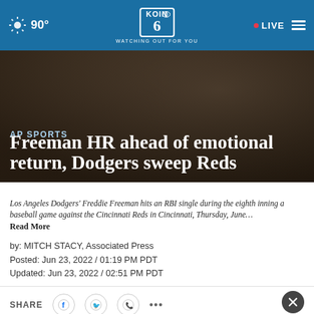90° KOIN 6 WATCHING OUT FOR YOU • LIVE
AP SPORTS
Freeman HR ahead of emotional return, Dodgers sweep Reds
Los Angeles Dodgers' Freddie Freeman hits an RBI single during the eighth inning a baseball game against the Cincinnati Reds in Cincinnati, Thursday, June… Read More
by: MITCH STACY, Associated Press
Posted: Jun 23, 2022 / 01:19 PM PDT
Updated: Jun 23, 2022 / 02:51 PM PDT
SHARE
[Figure (other): Advertisement banner: Adopt a teen. You can't imagine the reward. AdoptUSKids logo.]